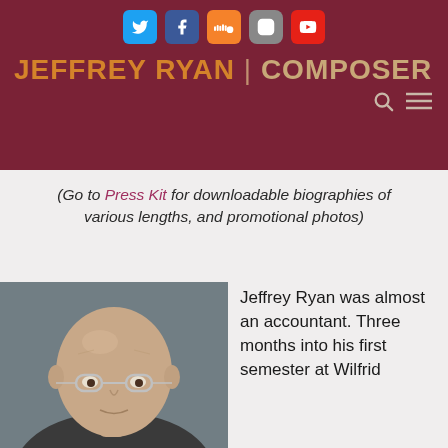JEFFREY RYAN | COMPOSER
(Go to Press Kit for downloadable biographies of various lengths, and promotional photos)
[Figure (photo): Professional headshot of Jeffrey Ryan, a bald man with clear-framed glasses, photographed against a grey background]
Jeffrey Ryan was almost an accountant. Three months into his first semester at Wilfrid